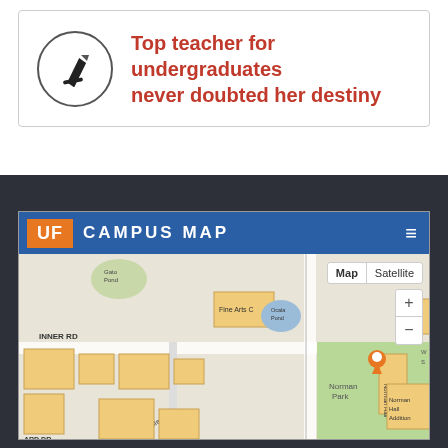Top teacher for undergraduates never doubted her destiny
[Figure (screenshot): UF Campus Map screenshot showing Norman Hall and Norman Hall Addition with an orange location pin marker, along with surrounding campus buildings including Fine Arts C, Yutee Hall, Norman Park, and Inner Rd. Map has a Map/Satellite toggle, zoom controls, and the University of Florida orange-and-blue header.]